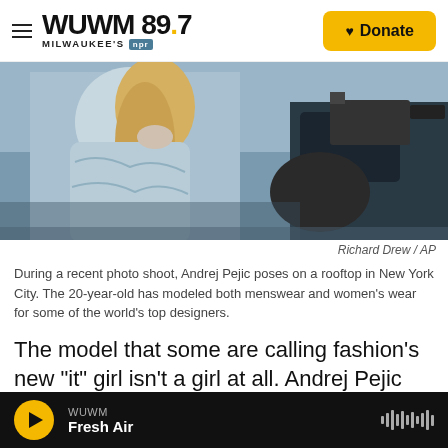WUWM 89.7 Milwaukee's NPR — Donate
[Figure (photo): A person with long blonde hair wearing a light blue outfit poses on a rooftop, being filmed by a camera operator in the foreground.]
Richard Drew / AP
During a recent photo shoot, Andrej Pejic poses on a rooftop in New York City. The 20-year-old has modeled both menswear and women's wear for some of the world's top designers.
The model that some are calling fashion's new "it" girl isn't a girl at all. Andrej Pejic takes the industry's on-again, off-again fascination with androgyny to a new extreme by modeling both menswear and
WUWM Fresh Air